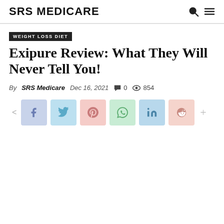SRS MEDICARE
WEIGHT LOSS DIET
Exipure Review: What They Will Never Tell You!
By SRS Medicare  Dec 16, 2021  💬 0  👁 854
[Figure (other): Social sharing buttons row: share arrow, Facebook, Twitter, Pinterest, WhatsApp, LinkedIn, Reddit, plus button]